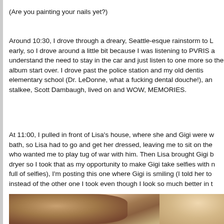(Are you painting your nails yet?)
Around 10:30, I drove through a dreary, Seattle-esque rainstorm to L early, so I drove around a little bit because I was listening to PVRIS a understand the need to stay in the car and just listen to one more so the album start over. I drove past the police station and my old dentis elementary school (Dr. LeDonne, what a fucking dental douche!), an stalkee, Scott Dambaugh, lived on and WOW, MEMORIES.
At 11:00, I pulled in front of Lisa's house, where she and Gigi were w bath, so Lisa had to go and get her dressed, leaving me to sit on the who wanted me to play tug of war with him. Then Lisa brought Gigi b dryer so I took that as my opportunity to make Gigi take selfies with n full of selfies), I'm posting this one where Gigi is smiling (I told her to instead of the other one I took even though I look so much better in t
[Figure (photo): Close-up photo of two people's faces, one with dark hair on the left and one with blonde hair on the right, partially cropped at the bottom of the page.]